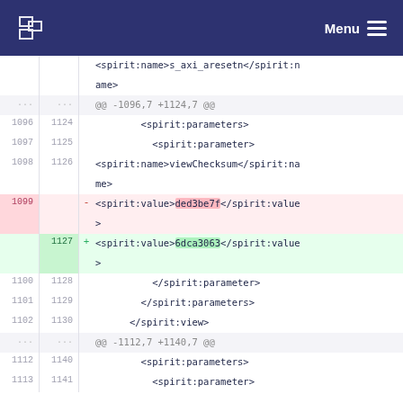ESA Menu
[Figure (screenshot): A git diff view showing XML changes. Removed line 1099 has spirit:value ded3be7f, replaced with added line 1127 spirit:value 6dca3063. Context lines show spirit:parameters, spirit:parameter, spirit:name with viewChecksum, and spirit:view closing tags.]